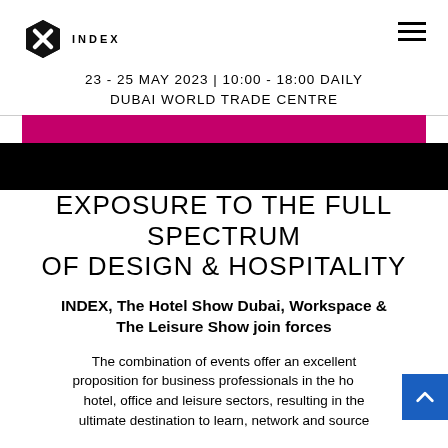[Figure (logo): INDEX logo: hexagonal X icon in black with 'INDEX' text in uppercase letters]
23 - 25 MAY 2023 | 10:00 - 18:00 DAILY
DUBAI WORLD TRADE CENTRE
[Figure (illustration): Pink horizontal banner strip above a black rectangle, forming a decorative header band]
EXPOSURE TO THE FULL SPECTRUM OF DESIGN & HOSPITALITY
INDEX, The Hotel Show Dubai, Workspace & The Leisure Show join forces
The combination of events offer an excellent proposition for business professionals in the ho…, hotel, office and leisure sectors, resulting in the ultimate destination to learn, network and source